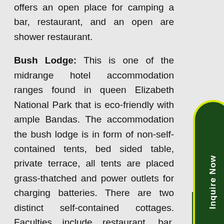offers an open place for camping a bar, restaurant, and an open are shower restaurant.
Bush Lodge: This is one of the midrange hotel accommodation ranges found in queen Elizabeth National Park that is eco-friendly with ample Bandas. The accommodation the bush lodge is in form of non-self-contained tents, bed sided table, private terrace, all tents are placed grass-thatched and power outlets for charging batteries. There are two distinct self-contained cottages. Faculties include restaurant, bar, ample parking, lounge, and others.
[Figure (other): Green oval-shaped button with yellow border and white vertical text reading 'Inquire Now']
[Figure (other): Dark green square scroll-to-top button with white upward chevron arrow]